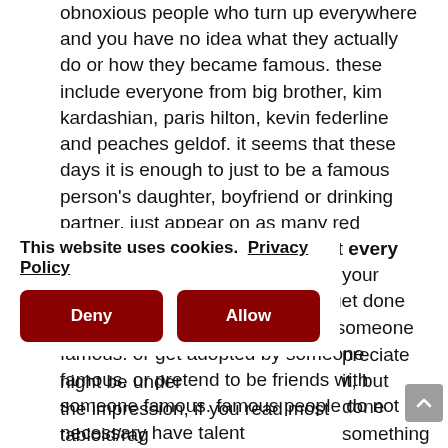obnoxious people who turn up everywhere and you have no idea what they actually do or how they became famous. these include everyone from big brother, kim kardashian, paris hilton, kevin federline and peaches geldof. it seems that these days it is enough to just to be a famous person's daughter, boyfriend or drinking partner. just appear on as many red carpets as you can, party all night every night, take your top (or better still your knickers) off on every occasion, get done for drunk driving and go out with someone famous. or get adopted by someone famous. or pretend to be friends with someone famous. famous people do not necessary have talent
preciate it, but done something ve.
night be under the impression, if you read most tabloid/rag
[Figure (other): Cookie consent banner overlay with 'This website uses cookies. Privacy Policy' text and Deny/Allow buttons]